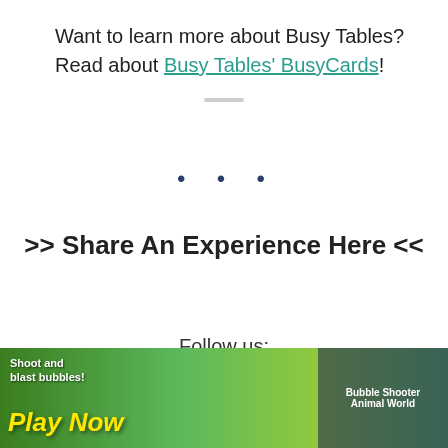Want to learn more about Busy Tables? Read about Busy Tables' BusyCards!
•••
>> Share An Experience Here <<
Follow us:
[Figure (infographic): Three social media icons in circles: Facebook (blue), Instagram (purple-pink gradient), YouTube (red)]
Sign-up Newsletter
[Figure (photo): Mobile game ad banner: 'Shoot and blast bubbles! Play Now' with cartoon animal characters, Bubble Shooter Animal World branding]